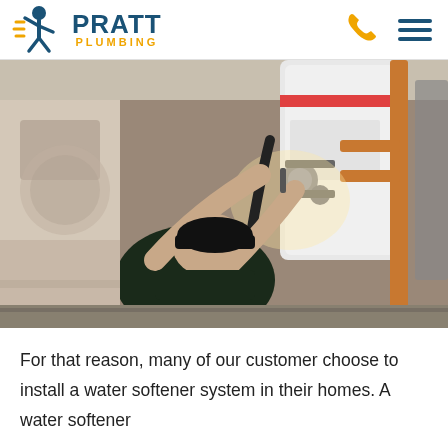PRATT PLUMBING
[Figure (photo): A plumber in a dark cap and shirt working on pipes and valves near a water heater in a tight utility space, reaching upward to install or repair plumbing components.]
For that reason, many of our customer choose to install a water softener system in their homes. A water softener